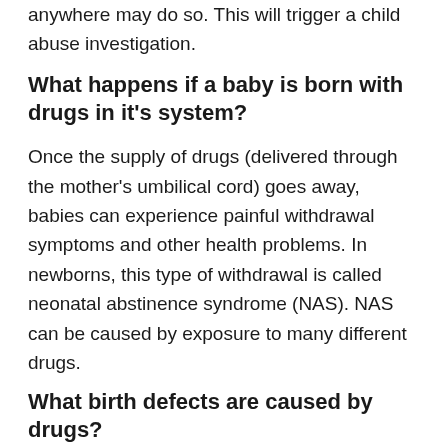anywhere may do so. This will trigger a child abuse investigation.
What happens if a baby is born with drugs in it's system?
Once the supply of drugs (delivered through the mother's umbilical cord) goes away, babies can experience painful withdrawal symptoms and other health problems. In newborns, this type of withdrawal is called neonatal abstinence syndrome (NAS). NAS can be caused by exposure to many different drugs.
What birth defects are caused by drugs?
These include breathing difficulties, poor